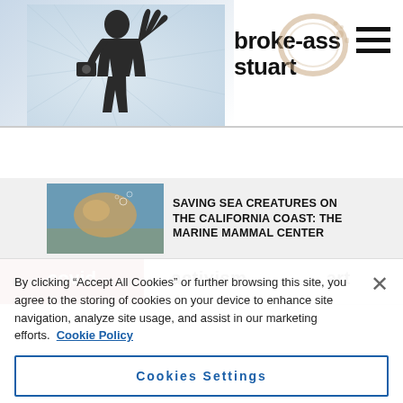[Figure (screenshot): Broke-Ass Stuart website header with silhouette figure and coffee stain logo]
broke-ass stuart
covid | activism | art
SAVING SEA CREATURES ON THE CALIFORNIA COAST: THE MARINE MAMMAL CENTER
By clicking “Accept All Cookies” or further browsing this site, you agree to the storing of cookies on your device to enhance site navigation, analyze site usage, and assist in our marketing efforts. Cookie Policy
Cookies Settings
Reject All
Accept All Cookies